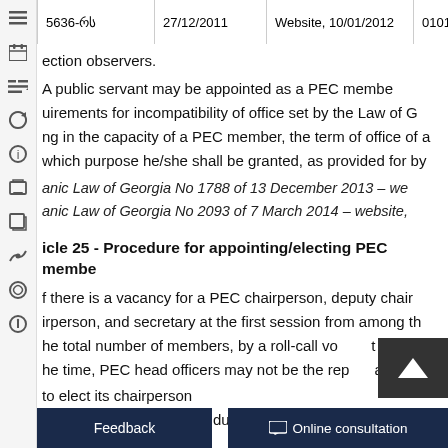5636-რს | 27/12/2011 | Website, 10/01/2012 | 010190
ection observers.
A public servant may be appointed as a PEC member... uirements for incompatibility of office set by the Law of G... ng in the capacity of a PEC member, the term of office of a... which purpose he/she shall be granted, as provided for by...
anic Law of Georgia No 1788 of 13 December 2013 – we...
anic Law of Georgia No 2093 of 7 March 2014 – website,...
icle 25 - Procedure for appointing/electing PEC membe...
f there is a vacancy for a PEC chairperson, deputy chair... irperson, and secretary at the first session from among th... he total number of members, by a roll-call vo... t less... he time, PEC head officers may not be the rep... atives...
to elect its chairperson... ) receives the most votes during elections shall perform...